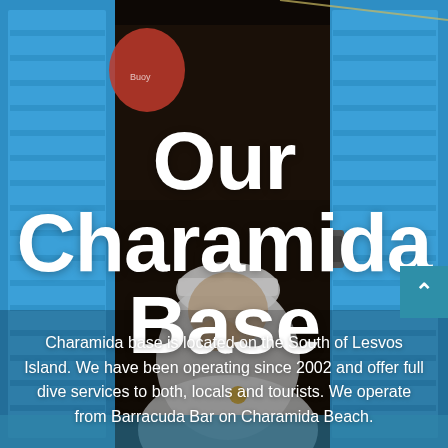[Figure (photo): Photo of a person viewed through a blue-painted wooden window/shutter frame, seen from outside. The person is wearing a white shirt and a white cap, leaning slightly. Background inside is dark. A red object is visible in the upper left corner of the window opening.]
Our Charamida Base
Charamida base is located on the South of Lesvos Island. We have been operating since 2002 and offer full dive services to both, locals and tourists. We operate from Barracuda Bar on Charamida Beach.